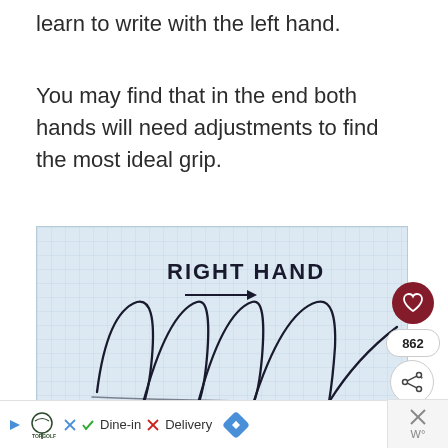learn to write with the left hand.
You may find that in the end both hands will need adjustments to find the most ideal grip.
[Figure (photo): Photo of lined/grid paper with handwritten text 'RIGHT HAND' and an arrow pointing right, followed by handwritten cursive loop strokes demonstrating right-hand writing practice. Social media UI overlays visible: heart icon button (dark red), like count '862', and share button.]
Topgolf logo | Dine-in  X Delivery | arrow icon | X  W°